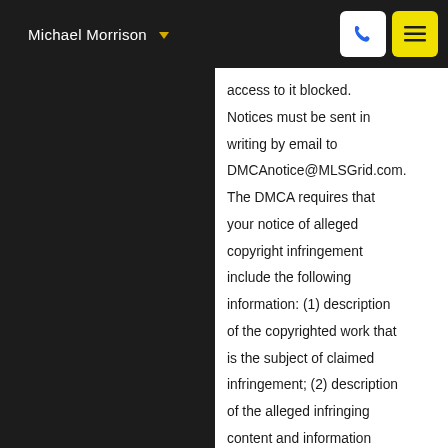Michael Morrison
access to it blocked. Notices must be sent in writing by email to DMCAnotice@MLSGrid.com. The DMCA requires that your notice of alleged copyright infringement include the following information: (1) description of the copyrighted work that is the subject of claimed infringement; (2) description of the alleged infringing content and information sufficient to permit us to